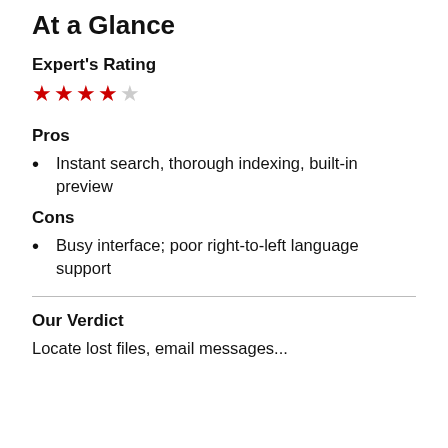At a Glance
Expert's Rating
★★★★☆
Pros
Instant search, thorough indexing, built-in preview
Cons
Busy interface; poor right-to-left language support
Our Verdict
Locate lost files, email messages...